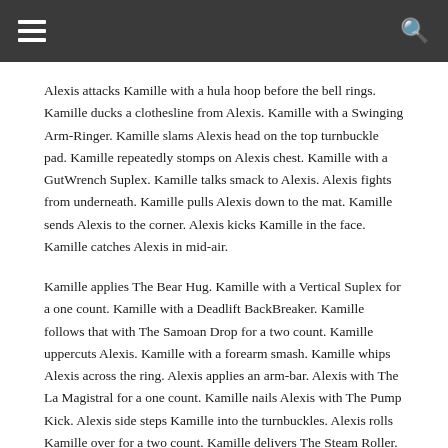Alexis attacks Kamille with a hula hoop before the bell rings. Kamille ducks a clothesline from Alexis. Kamille with a Swinging Arm-Ringer. Kamille slams Alexis head on the top turnbuckle pad. Kamille repeatedly stomps on Alexis chest. Kamille with a GutWrench Suplex. Kamille talks smack to Alexis. Alexis fights from underneath. Kamille pulls Alexis down to the mat. Kamille sends Alexis to the corner. Alexis kicks Kamille in the face. Kamille catches Alexis in mid-air.
Kamille applies The Bear Hug. Kamille with a Vertical Suplex for a one count. Kamille with a Deadlift BackBreaker. Kamille follows that with The Samoan Drop for a two count. Kamille uppercuts Alexis. Kamille with a forearm smash. Kamille whips Alexis across the ring. Alexis applies an arm-bar. Alexis with The La Magistral for a one count. Kamille nails Alexis with The Pump Kick. Alexis side steps Kamille into the turnbuckles. Alexis rolls Kamille over for a two count. Kamille delivers The Steam Roller. Kamille connects with The Spear to pickup the victory.